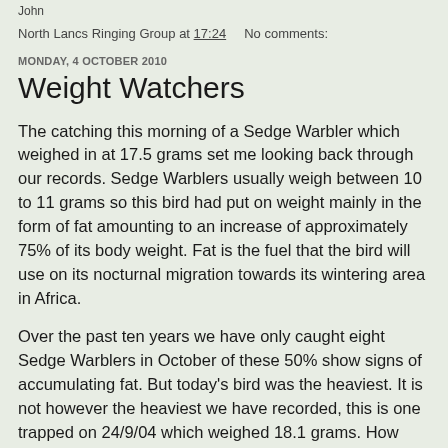John
North Lancs Ringing Group at 17:24    No comments:
MONDAY, 4 OCTOBER 2010
Weight Watchers
The catching this morning of a Sedge Warbler which weighed in at 17.5 grams set me looking back through our records. Sedge Warblers usually weigh between 10 to 11 grams so this bird had put on weight mainly in the form of fat amounting to an increase of approximately 75% of its body weight. Fat is the fuel that the bird will use on its nocturnal migration towards its wintering area in Africa.
Over the past ten years we have only caught eight Sedge Warblers in October of these 50% show signs of accumulating fat. But today's bird was the heaviest. It is not however the heaviest we have recorded, this is one trapped on 24/9/04 which weighed 18.1 grams. How long does it take a bird to accumulate this amount of fat? We have a good pointer in a bird ringed on 24/9 weighing 12.9 grams and 7...